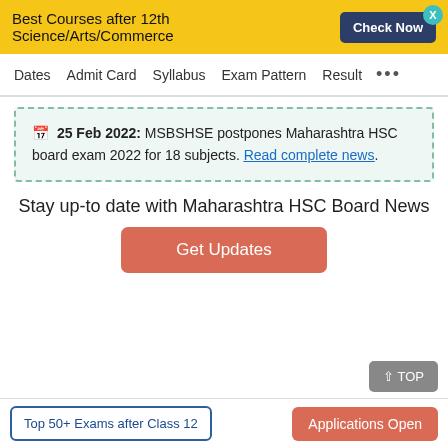Best Courses after 12th Science/Arts/Commerce  Check Now
Dates  Admit Card  Syllabus  Exam Pattern  Result  ...
25 Feb 2022: MSBSHSE postpones Maharashtra HSC board exam 2022 for 18 subjects. Read complete news .
Stay up-to date with Maharashtra HSC Board News
Get Updates
^ TOP
Top 50+ Exams after Class 12   Applications Open